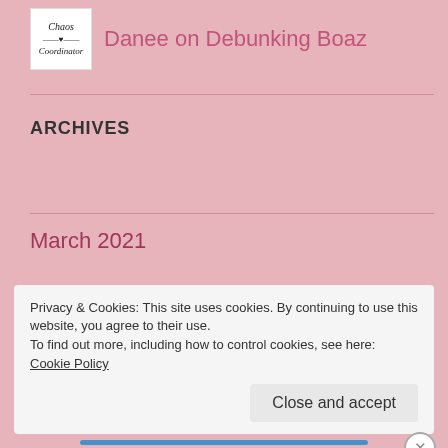[Figure (logo): Chaos Coordinator handwritten logo in white box]
Danee on Debunking Boaz
ARCHIVES
March 2021
April 2020
September 2019
Privacy & Cookies: This site uses cookies. By continuing to use this website, you agree to their use.
To find out more, including how to control cookies, see here: Cookie Policy
Close and accept